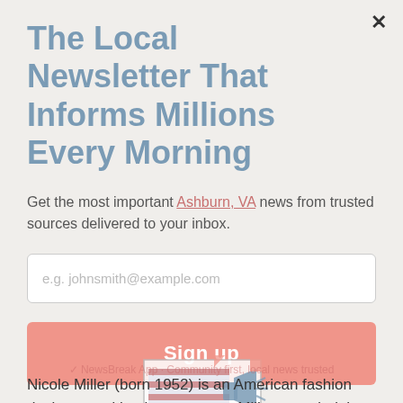The Local Newsletter That Informs Millions Every Morning
Get the most important Ashburn, VA news from trusted sources delivered to your inbox.
e.g. johnsmith@example.com
Sign up
[Figure (illustration): Illustration of a megaphone/loudspeaker with American flag motif and speech bubble, partially overlapping article text]
Nicole Miller (born 1952) is an American fashion designer and businesswoman. Miller attended the Rhode Island School of Design, where she earned a BFA in Apparel Design. She studied for a year at